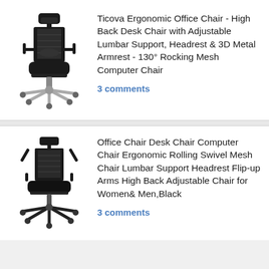[Figure (photo): Ticova ergonomic office chair with high back, mesh design, headrest, adjustable armrests, and chrome base with wheels]
Ticova Ergonomic Office Chair - High Back Desk Chair with Adjustable Lumbar Support, Headrest & 3D Metal Armrest - 130° Rocking Mesh Computer Chair
3 comments
[Figure (photo): Office chair with mesh back, headrest, flip-up armrests, and black base with wheels]
Office Chair Desk Chair Computer Chair Ergonomic Rolling Swivel Mesh Chair Lumbar Support Headrest Flip-up Arms High Back Adjustable Chair for Women& Men,Black
3 comments